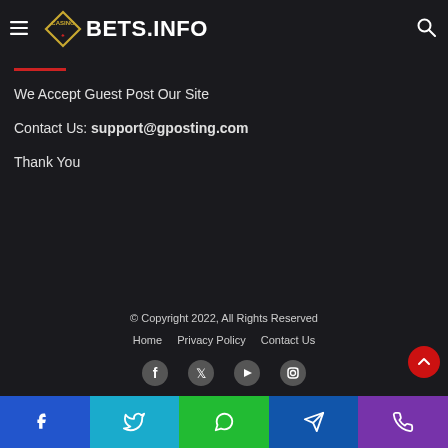CASINO BETS.INFO
We Accept Guest Post Our Site
Contact Us: support@gposting.com
Thank You
© Copyright 2022, All Rights Reserved
Home   Privacy Policy   Contact Us
[Figure (other): Social media icons: Facebook, Twitter, YouTube, Instagram]
[Figure (other): Bottom navigation bar with social/contact icons: Facebook (blue), Twitter (light blue), WhatsApp (green), Telegram (dark blue), Phone (purple)]